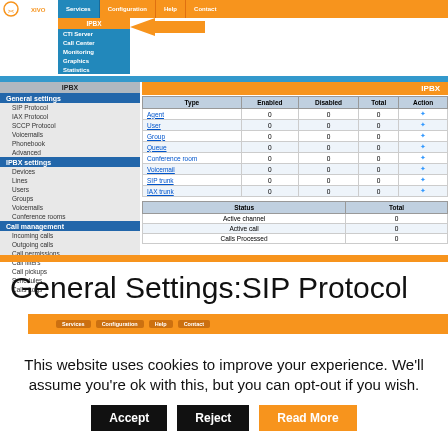[Figure (screenshot): XIVO IPBX web interface screenshot showing navigation menu with Services > IPBX selected (with orange arrow pointing to IPBX), left sidebar with General settings and IPBX settings sections, and main content showing IPBX dashboard table with Type/Enabled/Disabled/Total/Action columns (Agent, User, Group, Queue, Conference room, Voicemail, SIP trunk, IAX trunk all with 0 values) and Status table (Active channel 0, Active call 0, Calls Processed 0).]
General Settings:SIP Protocol
[Figure (screenshot): Second XIVO interface screenshot partial header bar with Services, Configuration, Help, Contact navigation buttons.]
This website uses cookies to improve your experience. We'll assume you're ok with this, but you can opt-out if you wish.
Accept  Reject  Read More